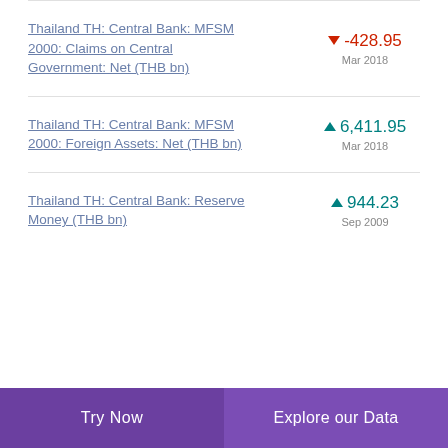Thailand TH: Central Bank: MFSM 2000: Claims on Central Government: Net (THB bn)
Thailand TH: Central Bank: MFSM 2000: Foreign Assets: Net (THB bn)
Thailand TH: Central Bank: Reserve Money (THB bn)
Try Now   Explore our Data